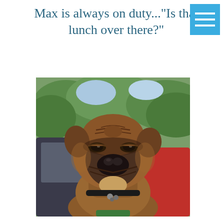Max is always on duty..."Is that lunch over there?"
[Figure (photo): A large bullmastiff dog leaning out of a red car window, looking alert and serious. Green trees visible in the background. The dog has a wrinkled brown/brindle face, black muzzle, floppy ears, and wears a metal collar.]